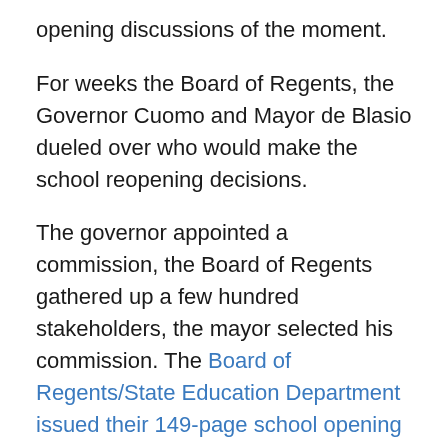opening discussions of the moment.
For weeks the Board of Regents, the Governor Cuomo and Mayor de Blasio dueled over who would make the school reopening decisions.
The governor appointed a commission, the Board of Regents gathered up a few hundred stakeholders, the mayor selected his commission. The Board of Regents/State Education Department issued their 149-page school opening guidance requiring that each of the 700 school districts in the state submit a plan for every school (4400 schools, 1800 in New York City). The New York State Department of Health issued guidance, the governor announced he would make his decision on school opening “the first week in August,” and set a metric, COVID positive testing below 5% (as of 8-3-20 COVID